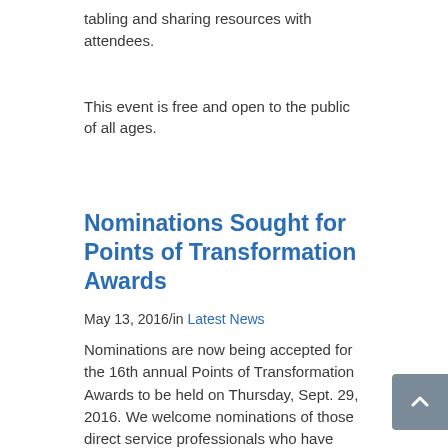community health and wellness organizations who will be tabling and sharing resources with attendees.
This event is free and open to the public of all ages.
Nominations Sought for Points of Transformation Awards
May 13, 2016/in Latest News
Nominations are now being accepted for the 16th annual Points of Transformation Awards to be held on Thursday, Sept. 29, 2016. We welcome nominations of those direct service professionals who have committed their careers to supporting people with intellectual disabilities and exemplify the Philadelphia Intellectual disAbility Services motto, “It’s all about community!” Consider the people you work with who are models of excellence, compassion, commitment, growth, and achievement.